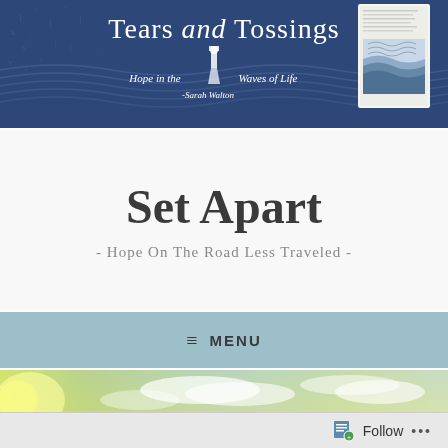[Figure (illustration): Dark navy blue banner with wave patterns and rain/teardrop designs. Shows book cover on the right side. Title 'Tears and Tossings' in white with italic 'and'. Subtitle 'Hope in the Waves of Life' with 'Sarah Walton' below, with a lighthouse icon.]
Set Apart
- Hope On The Road Less Traveled -
≡ MENU
[Figure (photo): Sky photograph showing clouds with sunlight, green and yellow tones.]
Follow ...